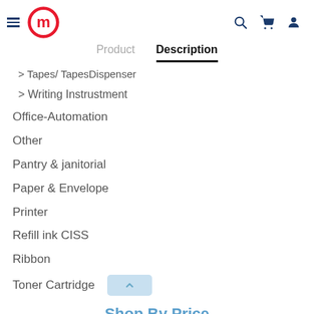Navigation header with logo and icons
Product | Description
> Tapes/ TapesDispenser
> Writing Instrustment
Office-Automation
Other
Pantry & janitorial
Paper & Envelope
Printer
Refill ink CISS
Ribbon
Toner Cartridge
Shop By Price